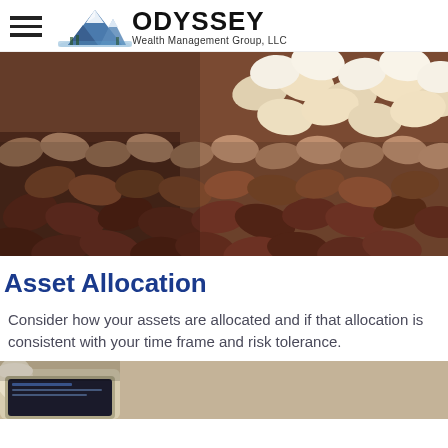ODYSSEY Wealth Management Group, LLC
[Figure (photo): Close-up photo of mixed beans and legumes — white beans, tan/peanut-colored beans, and dark reddish-brown kidney beans arranged in a spread.]
Asset Allocation
Consider how your assets are allocated and if that allocation is consistent with your time frame and risk tolerance.
[Figure (photo): Partial bottom photo showing a tablet or device on a table, partially visible, with blurred background.]